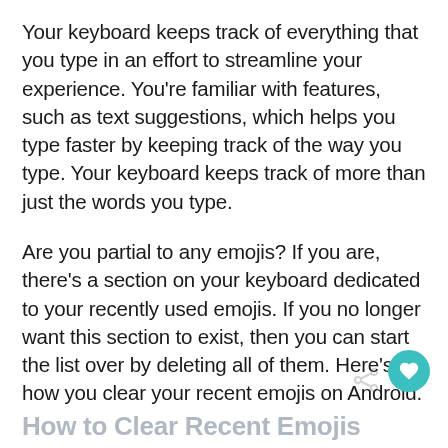Your keyboard keeps track of everything that you type in an effort to streamline your experience. You're familiar with features, such as text suggestions, which helps you type faster by keeping track of the way you type. Your keyboard keeps track of more than just the words you type.
Are you partial to any emojis? If you are, there's a section on your keyboard dedicated to your recently used emojis. If you no longer want this section to exist, then you can start the list over by deleting all of them. Here's how you clear your recent emojis on Android.
How to Clear Recent Emojis